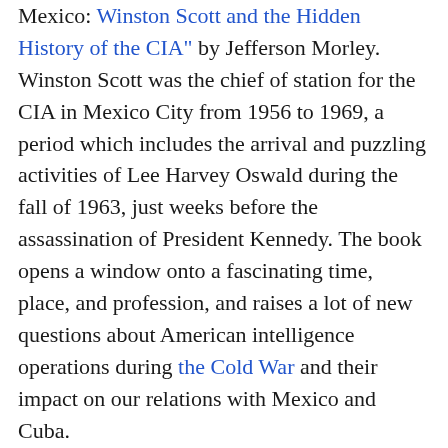Mexico: Winston Scott and the Hidden History of the CIA" by Jefferson Morley. Winston Scott was the chief of station for the CIA in Mexico City from 1956 to 1969, a period which includes the arrival and puzzling activities of Lee Harvey Oswald during the fall of 1963, just weeks before the assassination of President Kennedy. The book opens a window onto a fascinating time, place, and profession, and raises a lot of new questions about American intelligence operations during the Cold War and their impact on our relations with Mexico and Cuba.
Q. You've got cool jacket copy for this book: "Mexico City was the Seoul W...